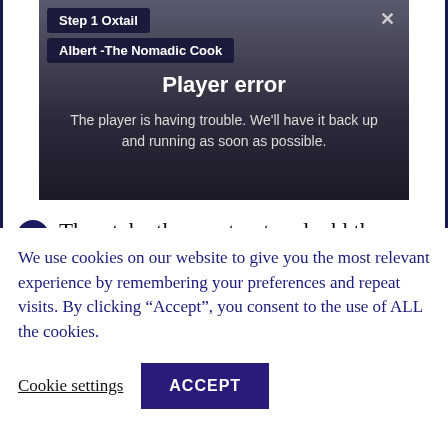[Figure (screenshot): Video player showing an error state. Labels 'Step 1 Oxtail' and 'Albert -The Nomadic Cook' appear as overlays in the top-left. An X close button is in the top-right. Center text reads 'Player error' and 'The player is having trouble. We’ll have it back up and running as soon as possible.']
2 Then take the meat out and add the onions and garlic and bay leaves. Gently fry them for 5 minutes or so
We use cookies on our website to give you the most relevant experience by remembering your preferences and repeat visits. By clicking “Accept”, you consent to the use of ALL the cookies.
Cookie settings   ACCEPT